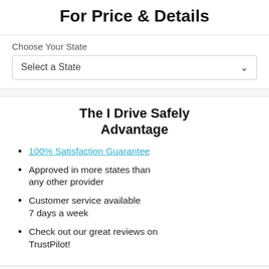For Price & Details
Choose Your State
Select a State
The I Drive Safely Advantage
100% Satisfaction Guarantee
Approved in more states than any other provider
Customer service available 7 days a week
Check out our great reviews on TrustPilot!